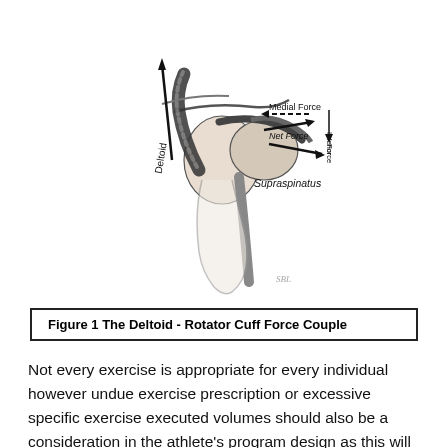[Figure (illustration): Anatomical diagram of the shoulder joint showing the Deltoid-Rotator Cuff Force Couple. Labels include: Deltoid (with upward arrow along the muscle), Supraspinatus (with rightward arrow), Net Force (diagonal arrow pointing upper-right), Medial Force (dashed arrow pointing left), and Inferior Force (small vertical label on right). Illustrator initials 'SBL' at bottom right.]
Figure 1 The Deltoid - Rotator Cuff Force Couple
Not every exercise is appropriate for every individual however undue exercise prescription or excessive specific exercise executed volumes should also be a consideration in the athlete's program design as this will likely result in unwarranted neuromuscular